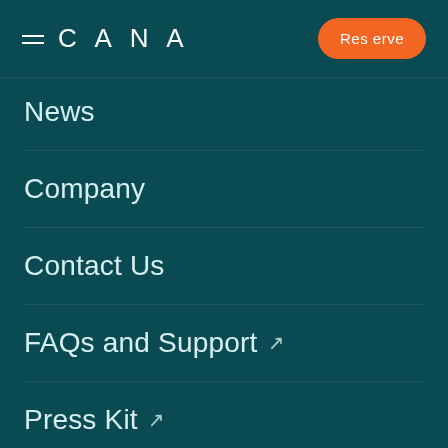CANA — Reserve
News
Company
Contact Us
FAQs and Support ↗
Press Kit ↗
Careers ↗